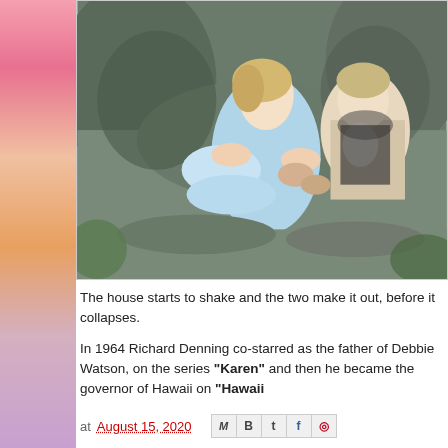[Figure (photo): Film still showing a man and woman in period costume, the woman in a light blue dress looking frightened, leaning against rocky background]
The house starts to shake and the two make it out, before it collapses.
In 1964 Richard Denning co-starred as the father of Debbie Watson, on the series "Karen" and then he became the governor of Hawaii on "Hawaii
at August 15, 2020